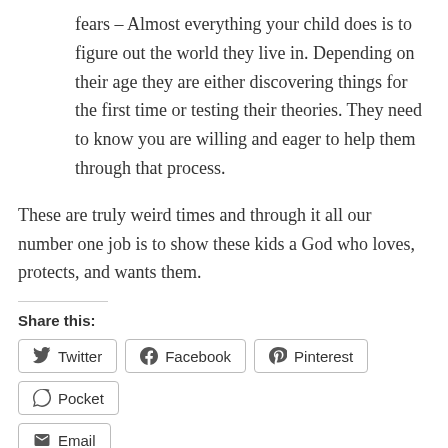fears – Almost everything your child does is to figure out the world they live in. Depending on their age they are either discovering things for the first time or testing their theories. They need to know you are willing and eager to help them through that process.
These are truly weird times and through it all our number one job is to show these kids a God who loves, protects, and wants them.
Share this:
Twitter | Facebook | Pinterest | Pocket | Email